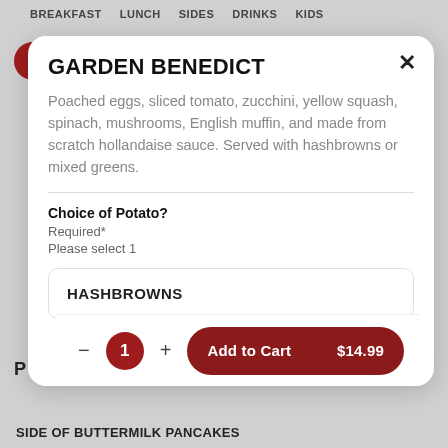BREAKFAST  LUNCH  SIDES  DRINKS  KIDS
GARDEN BENEDICT
Poached eggs, sliced tomato, zucchini, yellow squash, spinach, mushrooms, English muffin, and made from scratch hollandaise sauce. Served with hashbrowns or mixed greens.
Choice of Potato?
Required*
Please select 1
HASHBROWNS
1  Add to Cart  $14.99
SIDE OF BUTTERMILK PANCAKES